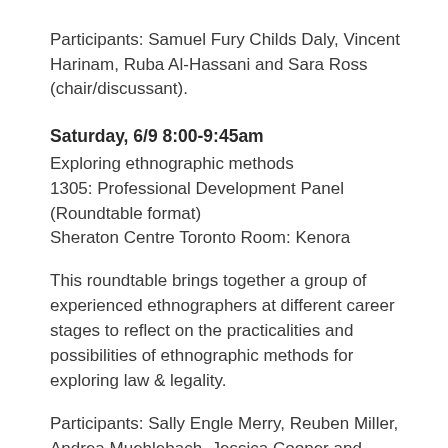Participants: Samuel Fury Childs Daly, Vincent Harinam, Ruba Al-Hassani and Sara Ross (chair/discussant).
Saturday, 6/9 8:00-9:45am
Exploring ethnographic methods
1305: Professional Development Panel (Roundtable format)
Sheraton Centre Toronto Room: Kenora
This roundtable brings together a group of experienced ethnographers at different career stages to reflect on the practicalities and possibilities of ethnographic methods for exploring law & legality.
Participants: Sally Engle Merry, Reuben Miller, Andrea Muehlebach, Jessica Cooper and Andrea